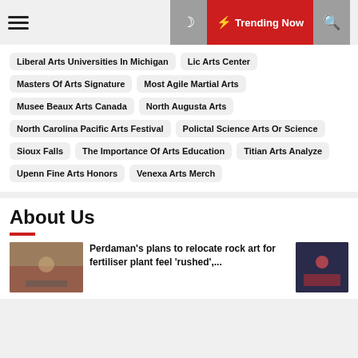≡  🌙  ⚡ Trending Now  🔍
Liberal Arts Universities In Michigan
Lic Arts Center
Masters Of Arts Signature
Most Agile Martial Arts
Musee Beaux Arts Canada
North Augusta Arts
North Carolina Pacific Arts Festival
Polictal Science Arts Or Science
Sioux Falls
The Importance Of Arts Education
Titian Arts Analyze
Upenn Fine Arts Honors
Venexa Arts Merch
About Us
Perdaman's plans to relocate rock art for fertiliser plant feel 'rushed',...